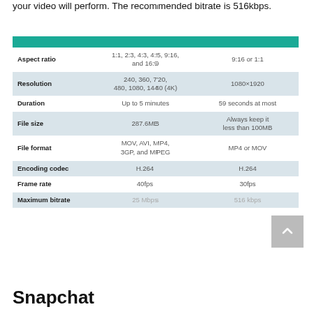your video will perform. The recommended bitrate is 516kbps.
|  |  |  |
| --- | --- | --- |
| Aspect ratio | 1:1, 2:3, 4:3, 4:5, 9:16, and 16:9 | 9:16 or 1:1 |
| Resolution | 240, 360, 720, 480, 1080, 1440 (4K) | 1080×1920 |
| Duration | Up to 5 minutes | 59 seconds at most |
| File size | 287.6MB | Always keep it less than 100MB |
| File format | MOV, AVI, MP4, 3GP, and MPEG | MP4 or MOV |
| Encoding codec | H.264 | H.264 |
| Frame rate | 40fps | 30fps |
| Maximum bitrate | 25 Mbps | 516 kbps |
Snapchat